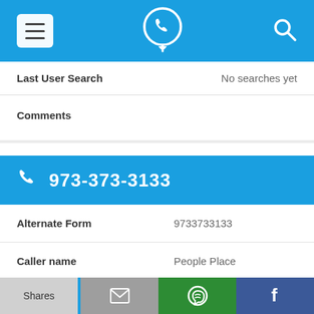[Figure (screenshot): Mobile app navigation bar with hamburger menu icon, phone locator logo, and search icon on blue background]
Last User Search    No searches yet
Comments
973-373-3133
| Field | Value |
| --- | --- |
| Alternate Form | 9733733133 |
| Caller name | People Place |
| Last User Search | No searches yet |
Comments
Shares